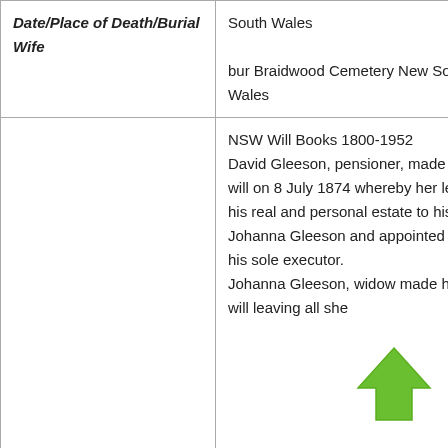| Date/Place of Death/Burial
Wife | South Wales
bur Braidwood Cemetery New South Wales |
|  | NSW Will Books 1800-1952
David Gleeson, pensioner, made his will on 8 July 1874 whereby her left all his real and personal estate to his wife Johanna Gleeson and appointed her his sole executor.
Johanna Gleeson, widow made her will leaving all she |
| Will or Probate |  |